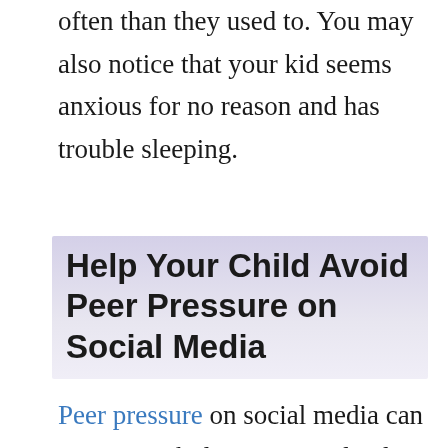often than they used to. You may also notice that your kid seems anxious for no reason and has trouble sleeping.
Help Your Child Avoid Peer Pressure on Social Media
Peer pressure on social media can encourage kids to get involved in unsafe behaviors such as using drugs and alcohol or participating in risky online challenges. According to Secure Teen, social media gives teens a fear of missing out, as they see pictures and videos of their peers partying and drinking alcohol.